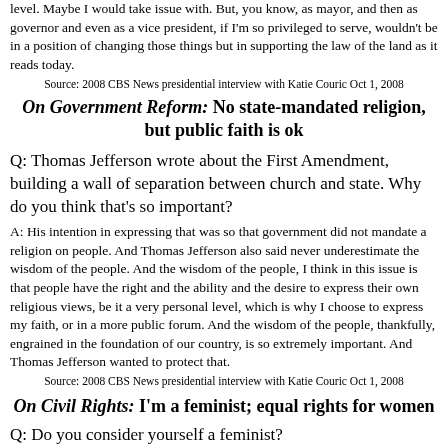level. Maybe I would take issue with. But, you know, as mayor, and then as governor and even as a vice president, if I'm so privileged to serve, wouldn't be in a position of changing those things but in supporting the law of the land as it reads today.
Source: 2008 CBS News presidential interview with Katie Couric Oct 1, 2008
On Government Reform: No state-mandated religion, but public faith is ok
Q: Thomas Jefferson wrote about the First Amendment, building a wall of separation between church and state. Why do you think that's so important?
A: His intention in expressing that was so that government did not mandate a religion on people. And Thomas Jefferson also said never underestimate the wisdom of the people. And the wisdom of the people, I think in this issue is that people have the right and the ability and the desire to express their own religious views, be it a very personal level, which is why I choose to express my faith, or in a more public forum. And the wisdom of the people, thankfully, engrained in the foundation of our country, is so extremely important. And Thomas Jefferson wanted to protect that.
Source: 2008 CBS News presidential interview with Katie Couric Oct 1, 2008
On Civil Rights: I'm a feminist; equal rights for women
Q: Do you consider yourself a feminist?
A: I do. A feminist, believing in equal rights and believing that...